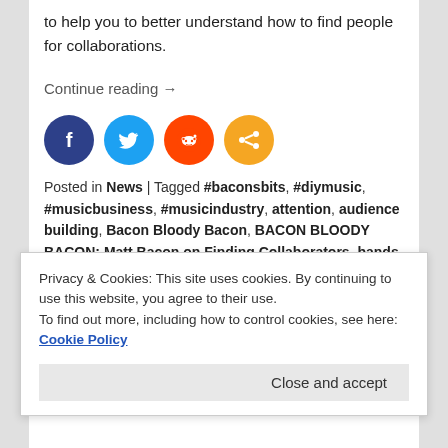to help you to better understand how to find people for collaborations.
Continue reading →
[Figure (other): Social sharing icons: Facebook (dark blue), Twitter (light blue), Reddit (orange-red), Share (orange)]
Posted in News | Tagged #baconsbits, #diymusic, #musicbusiness, #musicindustry, attention, audience building, Bacon Bloody Bacon, BACON BLOODY BACON: Matt Bacon on Finding Collaborators, bands versus labels mentality, being a value grinder, bio, booking, bundles, buyons, Coronavirus, COVID-19, DIY, Dropout Media, Dropout Merch, email marketing,
Privacy & Cookies: This site uses cookies. By continuing to use this website, you agree to their use.
To find out more, including how to control cookies, see here: Cookie Policy
Close and accept